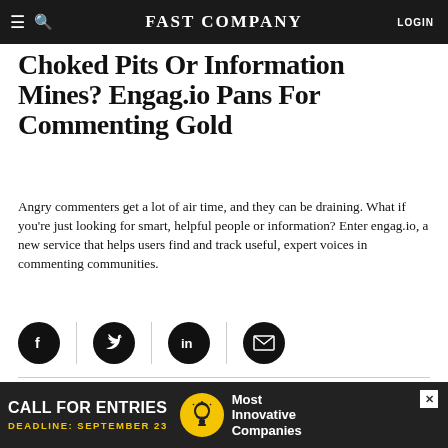FAST COMPANY | LOGIN
Choked Pits Or Information Mines? Engag.io Pans For Commenting Gold
Angry commenters get a lot of air time, and they can be draining. What if you're just looking for smart, helpful people or information? Enter engag.io, a new service that helps users find and track useful, expert voices in commenting communities.
[Figure (other): Social share buttons: Facebook, Twitter, LinkedIn, Email]
BY DOUGLAS CRETS
6 MINUTE READ
[Figure (photo): Article header image with black brush stroke across top]
[Figure (other): Advertisement banner: CALL FOR ENTRIES, DEADLINE: SEPTEMBER 23, Most Innovative Companies]